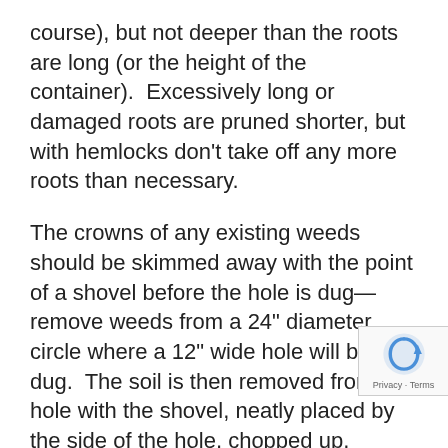course), but not deeper than the roots are long (or the height of the container).  Excessively long or damaged roots are pruned shorter, but with hemlocks don’t take off any more roots than necessary.
The crowns of any existing weeds should be skimmed away with the point of a shovel before the hole is dug—remove weeds from a 24” diameter circle where a 12” wide hole will be dug.  The soil is then removed from the hole with the shovel, neatly placed by the side of the hole, chopped up, amended, and gently nudged around the seedling’s roots, which are spread so that they go down and out.  Any rocks coming out of the soil are best utilized on the downhill edge of the hole to hel the soil from washing away.  It’s best to level and